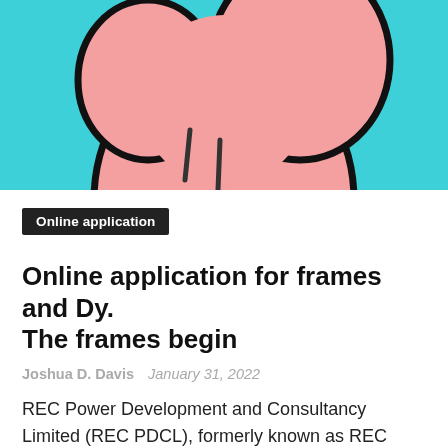[Figure (illustration): Cartoon illustration of a pink stomach/fist on a teal/cyan background, partially cropped at top]
Online application
Online application for frames and Dy. The frames begin
Joshua D. Davis   January 31, 2022
REC Power Development and Consultancy Limited (REC PDCL), formerly known as REC Power Distribution Company Limited, is eager to engage professionals with experience in the power transmission and distribution industry … READ MORE
age limit — application form — apply online — eligibility criteria — online applications